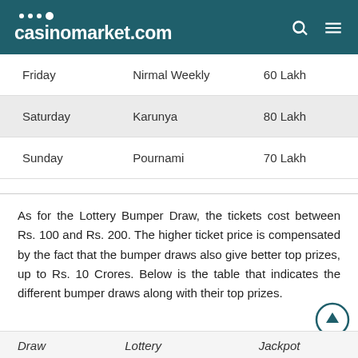casinomarket.com
| Day | Lottery | Jackpot |
| --- | --- | --- |
| Friday | Nirmal Weekly | 60 Lakh |
| Saturday | Karunya | 80 Lakh |
| Sunday | Pournami | 70 Lakh |
As for the Lottery Bumper Draw, the tickets cost between Rs. 100 and Rs. 200. The higher ticket price is compensated by the fact that the bumper draws also give better top prizes, up to Rs. 10 Crores. Below is the table that indicates the different bumper draws along with their top prizes.
| Draw | Lottery | Jackpot |
| --- | --- | --- |